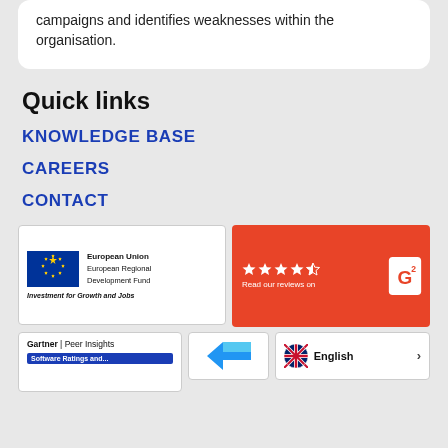campaigns and identifies weaknesses within the organisation.
Quick links
KNOWLEDGE BASE
CAREERS
CONTACT
[Figure (logo): European Union European Regional Development Fund – Investment for Growth and jobs logo]
[Figure (logo): G2 review badge with 4.5 stars rating – Read our reviews on G2]
[Figure (logo): Gartner Peer Insights – Software Ratings and...]
[Figure (logo): Capterra logo partially visible]
[Figure (logo): English language selector with UK flag]